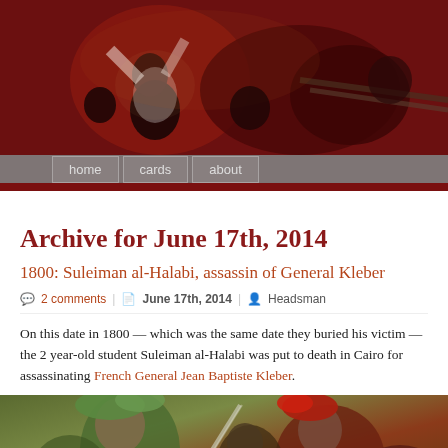[Figure (photo): Header banner with a Goya-style painting depicting figures in a dramatic scene with reddish tones, and a navigation bar with 'home', 'cards', 'about' tabs]
Archive for June 17th, 2014
1800: Suleiman al-Halabi, assassin of General Kleber
2 comments | June 17th, 2014 | Headsman
On this date in 1800 — which was the same date they buried his victim — the 2 year-old student Suleiman al-Halabi was put to death in Cairo for assassinating French General Jean Baptiste Kleber.
[Figure (photo): Painting depicting Ottoman/Middle Eastern scene with figures in colorful garments, one holding a sword, with red feathered hat visible]